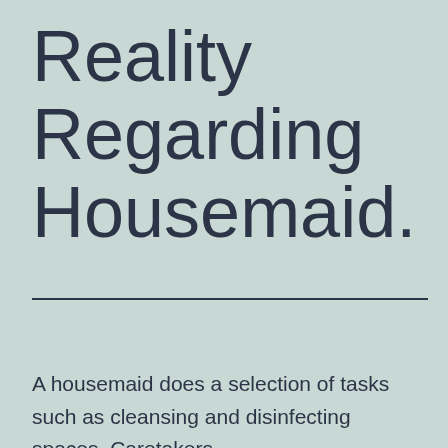Reality Regarding Housemaid.
A housemaid does a selection of tasks such as cleansing and disinfecting spaces. Caretakers